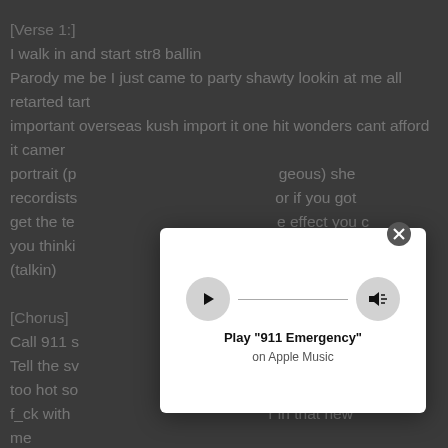[Verse 1:]
I walk in and start str8 ballin
Parody me be I just came to party shawty lookin at me all retarted tart
important overseas kush import it one hit wonders cant afford it camer
portrait (p... ...geous) she
recordists... ...or if you got
get the te... ...e effect you
you thinki... ...aution if you
(talkin)
[Figure (other): Apple Music play modal overlay with play button, volume button, track line, title 'Play "911 Emergency"', subtitle 'on Apple Music', and close X button]
[Chorus]
Call 911 s...
Tell the sv... ...ucci stole my
too hot so... ...lary yea I'm
f_ck with... ...r in that new
me
So when gucci man call it aint no mystery she kno she kidnap but she
gucci mane call it no mystery she kno she kidnap she aint even trippin
[Verse 2:]
Her brain is super she for mr birds I'm from east atlanta but wo mo